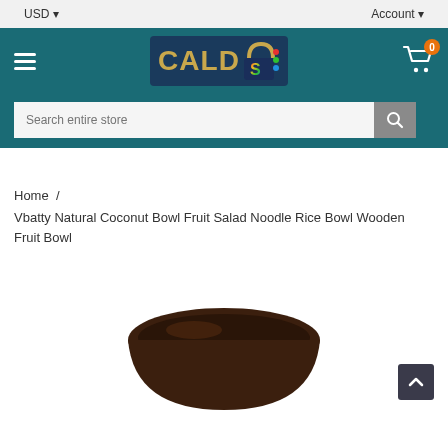USD  Account
[Figure (logo): CALDS store logo on dark blue/teal background with colorful lock icon]
Search entire store
Home / Vbatty Natural Coconut Bowl Fruit Salad Noodle Rice Bowl Wooden Fruit Bowl
[Figure (photo): Partial view of a dark wooden coconut bowl at bottom of page]